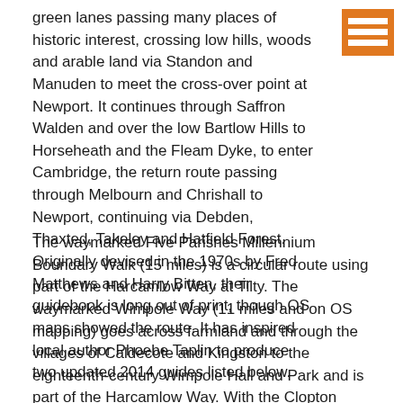green lanes passing many places of historic interest, crossing low hills, woods and arable land via Standon and Manuden to meet the cross-over point at Newport. It continues through Saffron Walden and over the low Bartlow Hills to Horseheath and the Fleam Dyke, to enter Cambridge, the return route passing through Melbourn and Chrishall to Newport, continuing via Debden, Thaxted, Takeley and Hatfield Forest. Originally devised in the 1970s by Fred Matthews and Harry Bitten, their guidebook is long out of print, though OS maps showed the route. It has inspired local author Phoebe Taplin to produce two updated 2014 guides listed below.
The waymarked Five Parishes Millennium Boundary Walk (15 miles) is a circular route using part of the Harcamlow Way at Tilty. The waymarked Wimpole Way (11 miles and on OS mapping) goes across farmland and through the villages of Caldecote and Kingston to the eighteenth-century Wimpole Hall and Park and is part of the Harcamlow Way. With the Clopton Way it links the Greensand Ridge Walk with Cambridge.